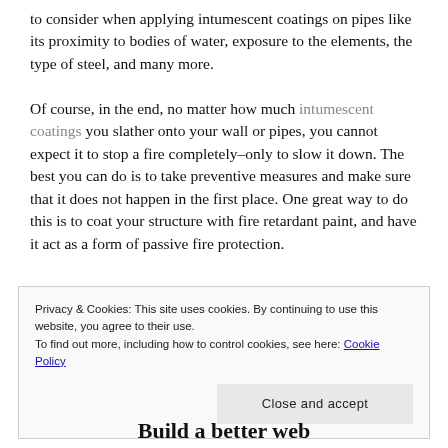to consider when applying intumescent coatings on pipes like its proximity to bodies of water, exposure to the elements, the type of steel, and many more.
Of course, in the end, no matter how much intumescent coatings you slather onto your wall or pipes, you cannot expect it to stop a fire completely–only to slow it down. The best you can do is to take preventive measures and make sure that it does not happen in the first place. One great way to do this is to coat your structure with fire retardant paint, and have it act as a form of passive fire protection.
Privacy & Cookies: This site uses cookies. By continuing to use this website, you agree to their use.
To find out more, including how to control cookies, see here: Cookie Policy
Close and accept
Build a better web